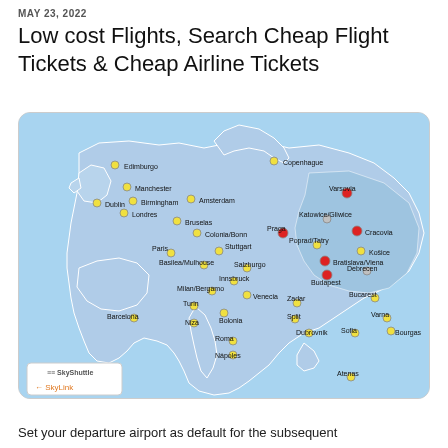MAY 23, 2022
Low cost Flights, Search Cheap Flight Tickets & Cheap Airline Tickets
[Figure (map): A map of Europe showing flight routes and airport cities for SkyShuttle and SkyLink services. Cities marked include: Edimburgo, Copenhague, Manchester, Dublin, Birmingham, Amsterdam, Londres, Bruselas, Colonia/Bonn, Varsovia, Katowice/Gliwice, Praga, Cracovia, Poprad/Tatry, Kosice, Bratislava/Viena, Paris, Stuttgart, Salzburgo, Budapest, Debrecen, Basilea/Mulhouse, Innsbruck, Milan/Bergamo, Venecia, Zadar, Bucarest, Turin, Bolonia, Split, Dubrovnik, Sofia, Varna, Bourgas, Niza, Roma, Napoles, Barcelona, Atenas. Red dots indicate SkyLink routes, yellow dots indicate SkyShuttle routes. Legend shows SkyShuttle and SkyLink symbols.]
Set your departure airport as default for the subsequent